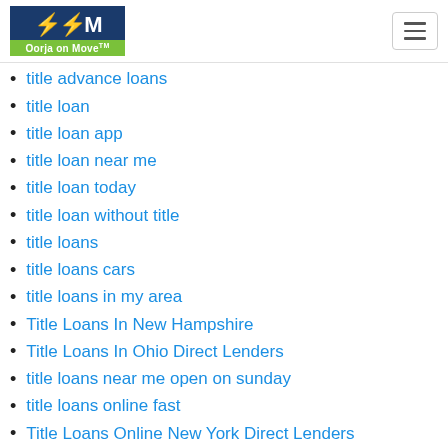Oorja on Move™
title advance loans
title loan
title loan app
title loan near me
title loan today
title loan without title
title loans
title loans cars
title loans in my area
Title Loans In New Hampshire
Title Loans In Ohio Direct Lenders
title loans near me open on sunday
title loans online fast
Title Loans Online New York Direct Lenders
title loans online same day
Title Loans With Bad Credit Ok